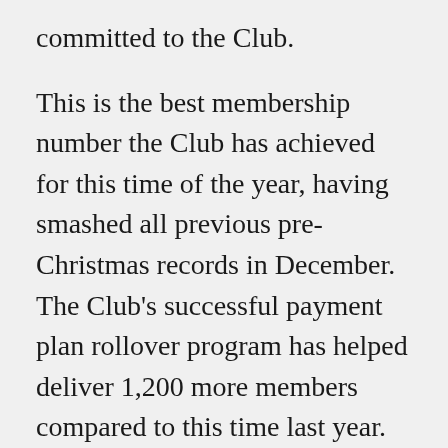committed to the Club.
This is the best membership number the Club has achieved for this time of the year, having smashed all previous pre-Christmas records in December. The Club's successful payment plan rollover program has helped deliver 1,200 more members compared to this time last year.
The 2015 draw promises exceptional entertainment at AAMI Park for Storm members and fans, with home blockbusters against...